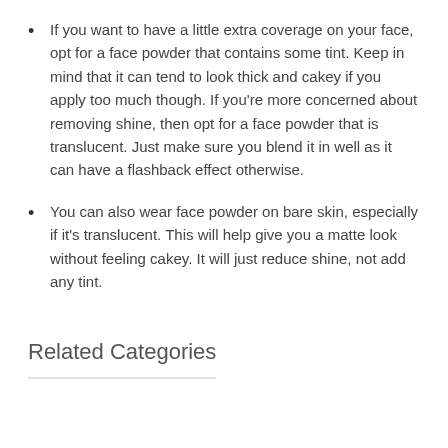If you want to have a little extra coverage on your face, opt for a face powder that contains some tint. Keep in mind that it can tend to look thick and cakey if you apply too much though. If you're more concerned about removing shine, then opt for a face powder that is translucent. Just make sure you blend it in well as it can have a flashback effect otherwise.
You can also wear face powder on bare skin, especially if it's translucent. This will help give you a matte look without feeling cakey. It will just reduce shine, not add any tint.
Related Categories